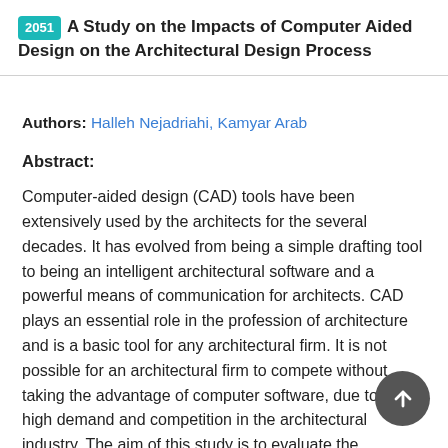2051 A Study on the Impacts of Computer Aided Design on the Architectural Design Process
Authors: Halleh Nejadriahi, Kamyar Arab
Abstract:
Computer-aided design (CAD) tools have been extensively used by the architects for the several decades. It has evolved from being a simple drafting tool to being an intelligent architectural software and a powerful means of communication for architects. CAD plays an essential role in the profession of architecture and is a basic tool for any architectural firm. It is not possible for an architectural firm to compete without taking the advantage of computer software, due to the high demand and competition in the architectural industry. The aim of this study is to evaluate the